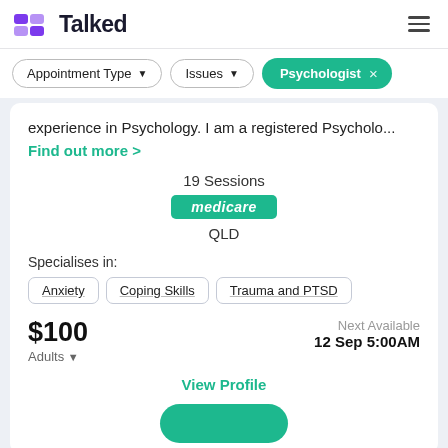Talked
Appointment Type ▼   Issues ▼   Psychologist ×
experience in Psychology. I am a registered Psycholo... Find out more >
19 Sessions
[Figure (logo): Medicare green badge logo]
QLD
Specialises in:
Anxiety
Coping Skills
Trauma and PTSD
$100 Adults ▾   Next Available 12 Sep 5:00AM
View Profile